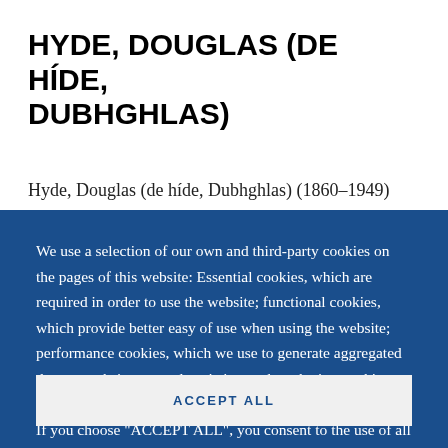HYDE, DOUGLAS (DE HÍDE, DUBHGHLAS)
Hyde, Douglas (de híde, Dubhghlas) (1860–1949)
We use a selection of our own and third-party cookies on the pages of this website: Essential cookies, which are required in order to use the website; functional cookies, which provide better easy of use when using the website; performance cookies, which we use to generate aggregated data on website use and statistics; and marketing cookies, which are used to display relevant content and advertising. If you choose "ACCEPT ALL", you consent to the use of all cookies. You can accept and
ACCEPT ALL